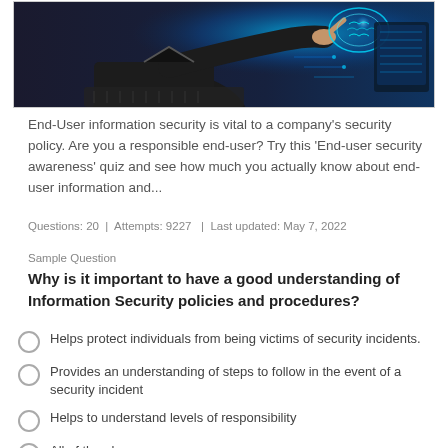[Figure (photo): Person in dark suit touching a glowing digital brain/interface hologram above a laptop keyboard with blue cybersecurity visuals in background]
End-User information security is vital to a company's security policy. Are you a responsible end-user? Try this 'End-user security awareness' quiz and see how much you actually know about end-user information and...
Questions: 20  |  Attempts: 9227  |  Last updated: May 7, 2022
Sample Question
Why is it important to have a good understanding of Information Security policies and procedures?
Helps protect individuals from being victims of security incidents.
Provides an understanding of steps to follow in the event of a security incident
Helps to understand levels of responsibility
All of the above